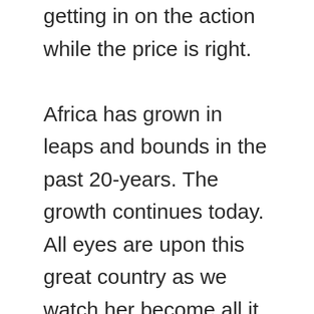getting in on the action while the price is right.

Africa has grown in leaps and bounds in the past 20-years. The growth continues today. All eyes are upon this great country as we watch her become all it is meant to be. One this is certain. You will be seeing and hearing a lot about Africa in the coming years. We can expect an African influence to change the way we view entertainment around the world